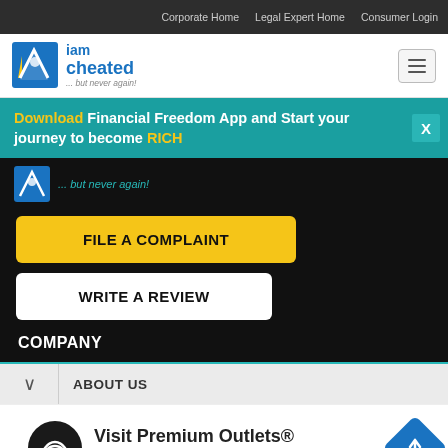Corporate Home   Legal Expert Home   Consumer Login
[Figure (logo): iamcheated logo with tagline '... but never again!']
Download Financial Freedom App and Start your journey to become RICH
[Figure (screenshot): Partial iamcheated logo on dark background with tagline '... but never again!']
FILE A COMPLAINT
WRITE A REVIEW
COMPANY
ABOUT US
[Figure (illustration): Advertisement banner: Visit Premium Outlets® Leesburg Premium Outlets with circular logo and navigation diamond icon]